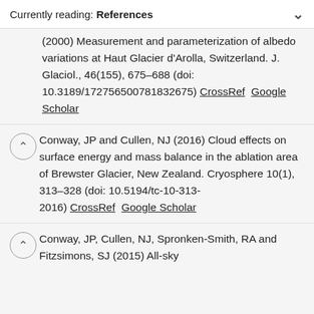Currently reading: References
(2000) Measurement and parameterization of albedo variations at Haut Glacier d'Arolla, Switzerland. J. Glaciol., 46(155), 675–688 (doi: 10.3189/172756500781832675) CrossRef  Google Scholar
Conway, JP and Cullen, NJ (2016) Cloud effects on surface energy and mass balance in the ablation area of Brewster Glacier, New Zealand. Cryosphere 10(1), 313–328 (doi: 10.5194/tc-10-313-2016) CrossRef  Google Scholar
Conway, JP, Cullen, NJ, Spronken-Smith, RA and Fitzsimons, SJ (2015) All-sky